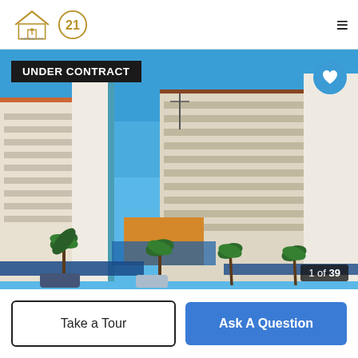D'Ambrah King | Century 21
[Figure (photo): Exterior photo of a large multi-story beige hotel/condominium complex with tall white towers, balconies, glass elevator shaft, palm trees in foreground, blue sky background. Badge shows 'UNDER CONTRACT'. Image counter shows '1 of 39'. Heart/favorite button in top right corner.]
1 of 39
Take a Tour
Ask A Question